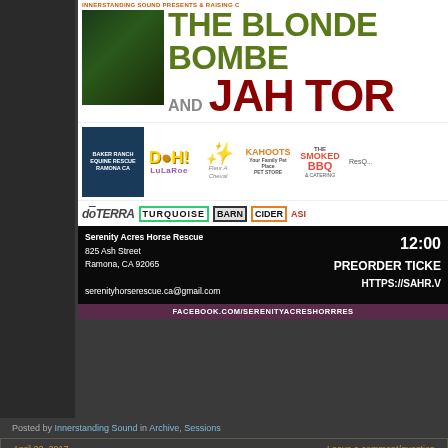[Figure (infographic): Concert event flyer for Serenity Acres Horse Rescue fundraiser featuring The Blonde Bombers and Jah Tor with sponsor logos including Baker Ranch Equine Rescue, DOH! LuLaRoe, Fleur A Cheval, Kahoots Pet Store, Smoked BBQ & Catering, doTERRA, Turquoise Barn Cider, and others. Event details: 825 Ash Street, Ramona CA 92065, 12:00, preorder tickets at HTTPS://SAHR.W... Facebook: FACEBOOK.COM/SERENITYACRESHORRRES]
Posted by Innerstanding Sound in Archive, Sessions
April 22, 2017
Leave a comment/question